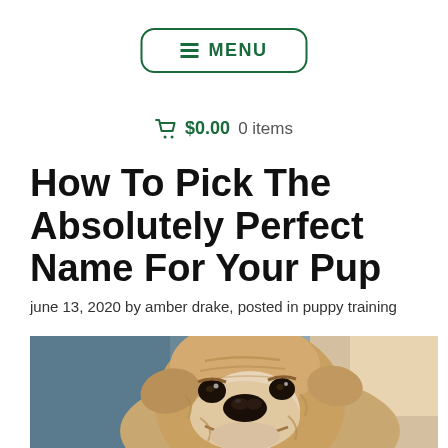≡ MENU
🛒 $0.00 0 items
How To Pick The Absolutely Perfect Name For Your Pup
june 13, 2020 by amber drake, posted in puppy training
[Figure (photo): Close-up photo of a wrinkly tan and white English Bulldog puppy resting its head, looking at the camera with droopy eyes]